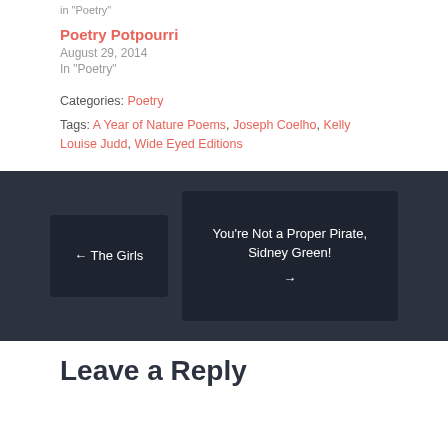in "Poetry"
Poetry Potpourri
August 29, 2014
In "Poetry"
Categories: Poetry
Tags: A Year of Nature Poems, Joseph Coelho, Kelly Louise Judd, Wide Eyed Editions
← The Girls
You're Not a Proper Pirate, Sidney Green! →
Leave a Reply